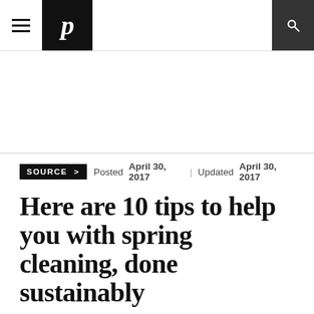P [newspaper logo navigation bar with hamburger menu and search icon]
SOURCE >  Posted April 30, 2017  |  Updated April 30, 2017
Here are 10 tips to help you with spring cleaning, done sustainably
What to do about old paint cans and how to wash the windows.